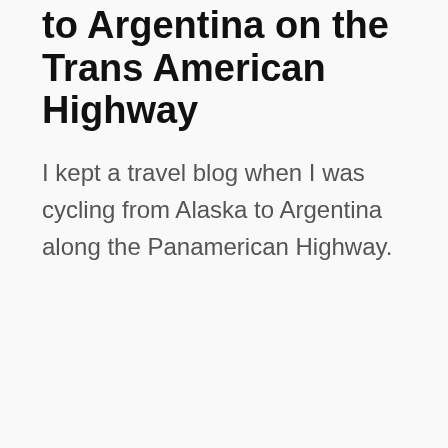to Argentina on the Trans American Highway
I kept a travel blog when I was cycling from Alaska to Argentina along the Panamerican Highway.